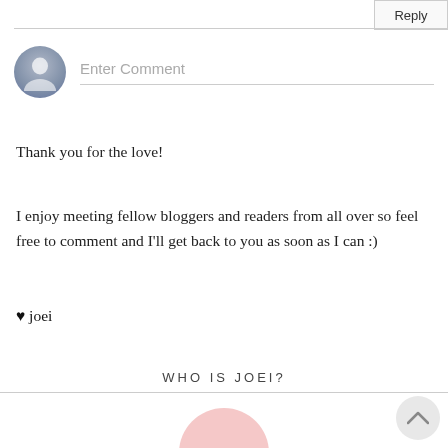Reply
[Figure (illustration): User avatar placeholder icon (grey circle with person silhouette) next to an 'Enter Comment' input field with bottom border]
Thank you for the love!
I enjoy meeting fellow bloggers and readers from all over so feel free to comment and I'll get back to you as soon as I can :)
♥ joei
WHO IS JOEI?
[Figure (photo): Partial profile photo of a blonde person with pink circular background, cropped at bottom of page]